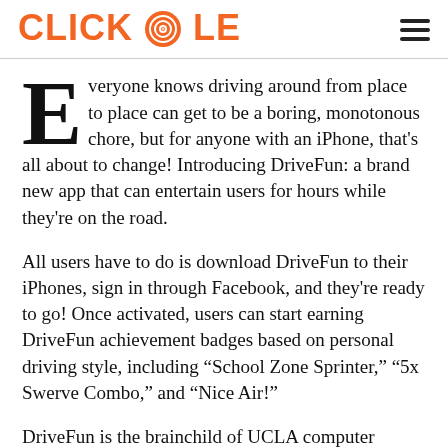CLICKHOLE
Everyone knows driving around from place to place can get to be a boring, monotonous chore, but for anyone with an iPhone, that's all about to change! Introducing DriveFun: a brand new app that can entertain users for hours while they're on the road.
All users have to do is download DriveFun to their iPhones, sign in through Facebook, and they're ready to go! Once activated, users can start earning DriveFun achievement badges based on personal driving style, including “School Zone Sprinter,” “5x Swerve Combo,” and “Nice Air!”
DriveFun is the brainchild of UCLA computer science graduate student Justin Hodge, who got fed up with being so bored on his daily drive to campus and came up with an innovative solution.